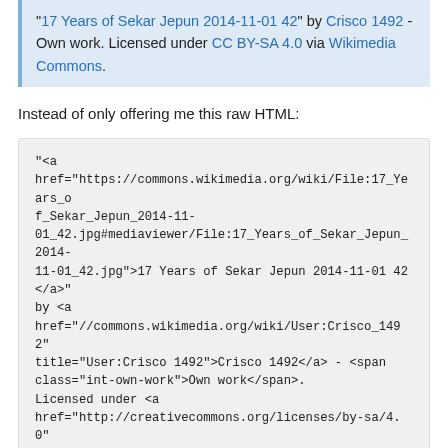"17 Years of Sekar Jepun 2014-11-01 42" by Crisco 1492 - Own work. Licensed under CC BY-SA 4.0 via Wikimedia Commons.
Instead of only offering me this raw HTML:
"<a
href="https://commons.wikimedia.org/wiki/File:17_Years_of_Sekar_Jepun_2014-11-01_42.jpg#mediaviewer/File:17_Years_of_Sekar_Jepun_2014-11-01_42.jpg">17 Years of Sekar Jepun 2014-11-01 42</a>" by <a
href="//commons.wikimedia.org/wiki/User:Crisco_1492"
title="User:Crisco 1492">Crisco 1492</a> - <span
class="int-own-work">Own work</span>.
Licensed under <a
href="http://creativecommons.org/licenses/by-sa/4.0"
title="Creative Commons Attribution-Share Alike 4.0">CC
BY-SA 4.0</a> via <a
href="//commons.wikimedia.org/wiki/">Wikimedia
Commons</a>.
At this point, many programs can accept the rich text option via copy/paste (most CMSs, like Wordpress, have rich text editors; *Office; all modern email clients; etc.).